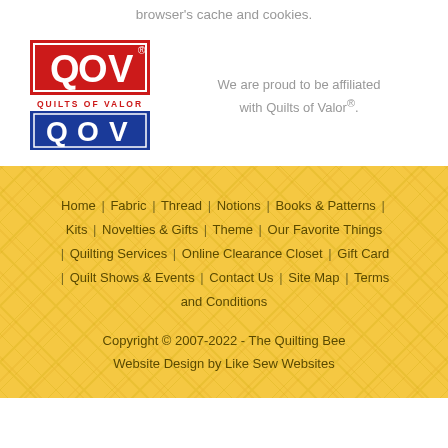browser's cache and cookies.
[Figure (logo): Quilts of Valor (QOV) logo with red and blue squares and 'QUILTS OF VALOR' text]
We are proud to be affiliated with Quilts of Valor®.
Home | Fabric | Thread | Notions | Books & Patterns | Kits | Novelties & Gifts | Theme | Our Favorite Things | Quilting Services | Online Clearance Closet | Gift Card | Quilt Shows & Events | Contact Us | Site Map | Terms and Conditions
Copyright © 2007-2022 - The Quilting Bee Website Design by Like Sew Websites